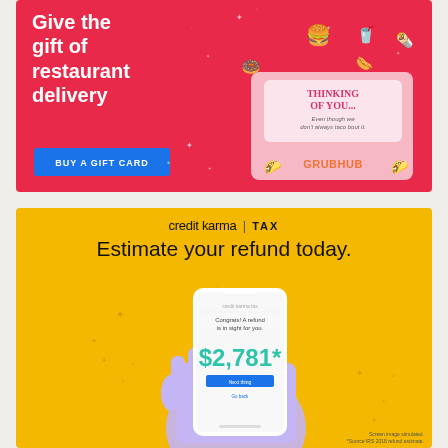[Figure (illustration): Grubhub advertisement with red background. Text reads 'Give the gift of restaurant delivery' with a blue 'BUY A GIFT CARD' button. Right side shows a pink gift card with 'THINKING OF YOU...' and 'Even though we don't always taco bout it. GRUBHUB' with food illustrations scattered around.]
[Figure (illustration): Credit Karma Tax advertisement with yellow background. Shows 'credit karma | TAX' logo, 'Estimate your refund today.' headline, and a phone mockup showing '$2,781*' refund amount with text 'Congrats! A refund is in sight for you.' Footnotes: 'Screen image simulated. *Source IRS 2018 refund estimate.']